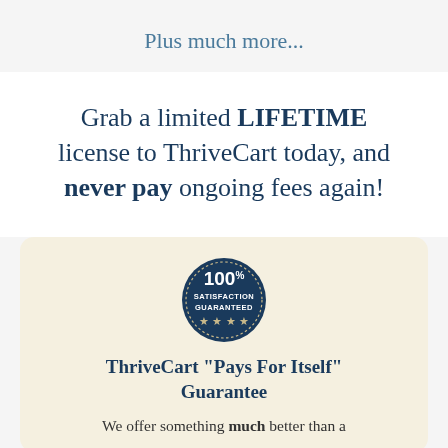Plus much more...
Grab a limited LIFETIME license to ThriveCart today, and never pay ongoing fees again!
[Figure (illustration): 100% Satisfaction Guaranteed badge — dark navy circular seal with stars at bottom]
ThriveCart "Pays For Itself" Guarantee
We offer something much better than a